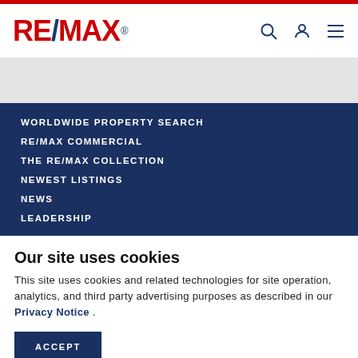RE/MAX
WORLDWIDE PROPERTY SEARCH
RE/MAX COMMERCIAL
THE RE/MAX COLLECTION
NEWEST LISTINGS
NEWS
LEADERSHIP
Our site uses cookies
This site uses cookies and related technologies for site operation, analytics, and third party advertising purposes as described in our Privacy Notice .
ACCEPT